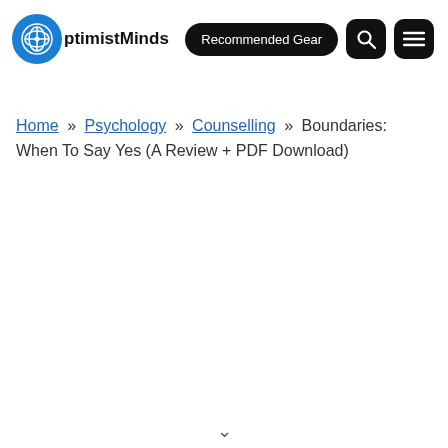OptimistMinds | Recommended Gear | Search | Menu
Home » Psychology » Counselling » Boundaries: When To Say Yes (A Review + PDF Download)